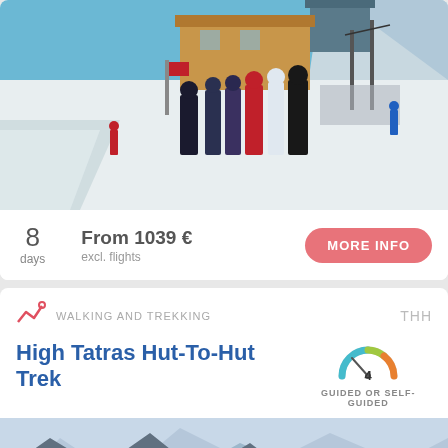[Figure (photo): Group of skiers standing at a ski resort with snow-covered mountain and buildings in background, blue sky]
8 days
From 1039 € excl. flights
MORE INFO
WALKING AND TREKKING
THH
High Tatras Hut-To-Hut Trek
4 GUIDED OR SELF-GUIDED
[Figure (photo): Hikers in mountain landscape with rocky peaks and misty blue mountains in background]